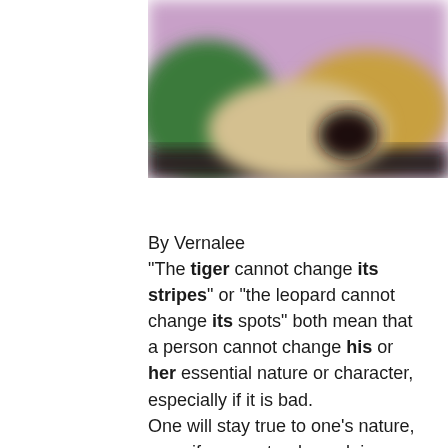[Figure (photo): A blurry/out-of-focus image showing abstract colorful shapes with purple, green, and golden/yellow hues, possibly an outdoor or nature scene.]
By Vernalee
"The tiger cannot change its stripes" or "the leopard cannot change its spots" both mean that a person cannot change his or her essential nature or character, especially if it is bad.
One will stay true to one's nature, even if one pretends or claims otherwise.
So wake up and don't be surprised when you hear someone say that they